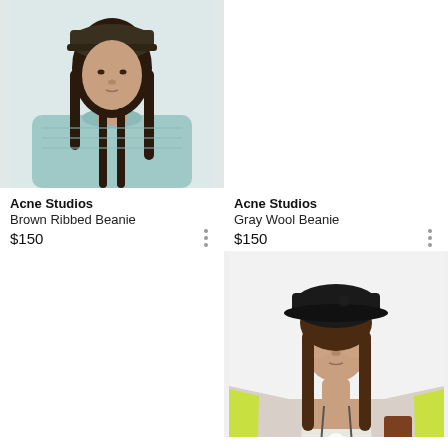[Figure (photo): Female model wearing a dark olive/brown ribbed knit beanie and light blue/mint crewneck sweater, shown from shoulders up against white background]
Acne Studios
Brown Ribbed Beanie
$150
Acne Studios
Gray Wool Beanie
$150
[Figure (photo): Female model wearing a black bucket hat and an open light gray zip-up hoodie with neon yellow lining, brown hair down, shown from shoulders up]